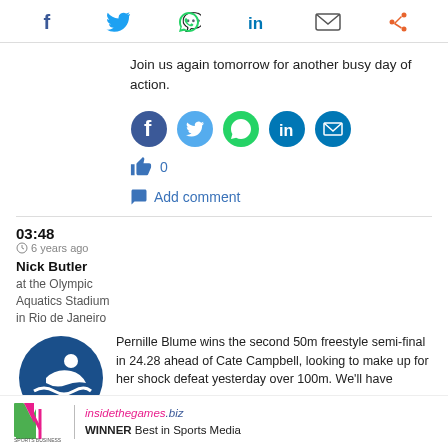[Figure (infographic): Top social sharing bar with Facebook, Twitter, WhatsApp, LinkedIn, Email, and Share icons]
Join us again tomorrow for another busy day of action.
[Figure (infographic): Row of social share buttons: Facebook (dark blue), Twitter (light blue), WhatsApp (green), LinkedIn (dark blue), Email (dark blue)]
0
Add comment
03:48
6 years ago
Nick Butler
at the Olympic Aquatics Stadium in Rio de Janeiro
[Figure (logo): Swimming logo - blue teardrop shape with white swimmer and wave lines]
Pernille Blume wins the second 50m freestyle semi-final in 24.28 ahead of Cate Campbell, looking to make up for her shock defeat yesterday over 100m. We'll have
[Figure (logo): Sports Business Awards 2017 logo with insidethegames.biz WINNER Best in Sports Media]